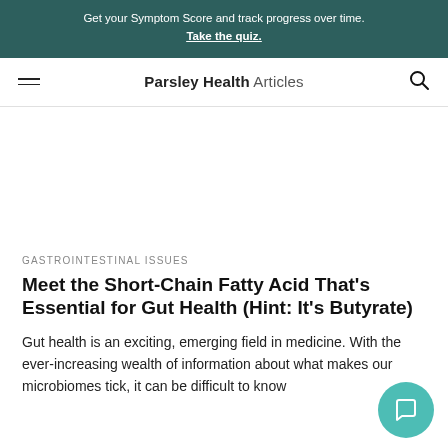Get your Symptom Score and track progress over time. Take the quiz.
Parsley Health Articles
GASTROINTESTINAL ISSUES
Meet the Short-Chain Fatty Acid That’s Essential for Gut Health (Hint: It’s Butyrate)
Gut health is an exciting, emerging field in medicine. With the ever-increasing wealth of information about what makes our microbiomes tick, it can be difficult to know